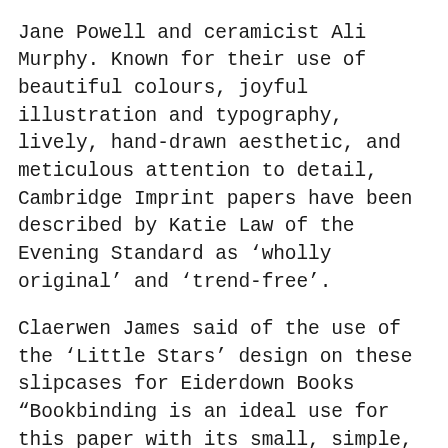Jane Powell and ceramicist Ali Murphy. Known for their use of beautiful colours, joyful illustration and typography, lively, hand-drawn aesthetic, and meticulous attention to detail, Cambridge Imprint papers have been described by Katie Law of the Evening Standard as ‘wholly original’ and ‘trend-free’.
Claerwen James said of the use of the 'Little Stars' design on these slipcases for Eiderdown Books "Bookbinding is an ideal use for this paper with its small, simple, but robust motif, and its early twentieth century feel, and we’re very happy to have the pattern associated with this excellent publishing venture".